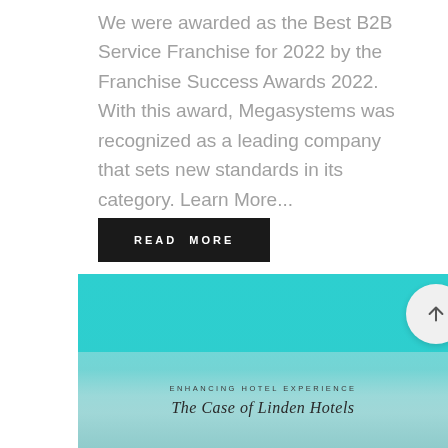We were awarded as the Best B2B Service Franchise for 2022 by the Franchise Success Awards 2022. With this award, Megasystems was recognized as a leading company that sets new standards in its category. Learn More...
READ MORE
[Figure (other): Teal/turquoise textured background image with an arrow-up circle button on the right side, and overlay text reading 'ENHANCING HOTEL EXPERIENCE' and 'The Case of Linden Hotels' in script font at the bottom]